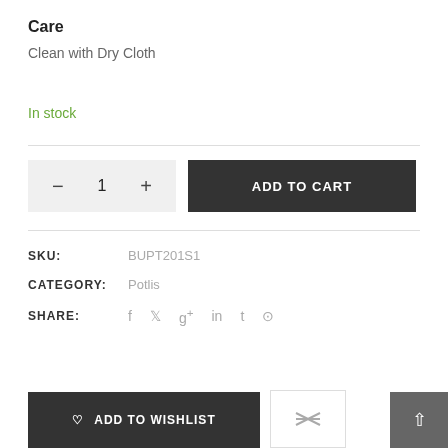Care
Clean with Dry Cloth
In stock
SKU: BUPT201S1
CATEGORY: Potlis
SHARE: f t g+ in t p